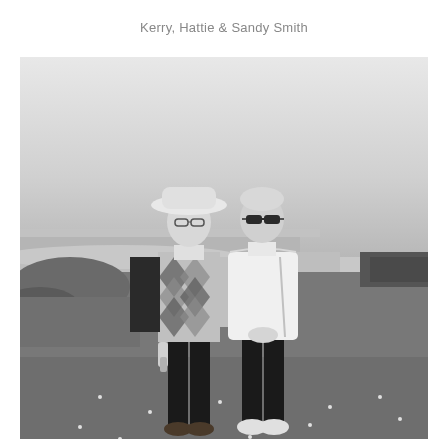Kerry, Hattie & Sandy Smith
[Figure (photo): Black and white photograph of two people standing outdoors on grassy ground near a coastal area. On the left is a person wearing a wide-brimmed sun hat, glasses, and an argyle patterned sweater over dark jeans. On the right is a person with short light hair wearing sunglasses and a white hoodie with dark trousers. The background shows a coastal landscape with grass, a beach, and a light sky.]